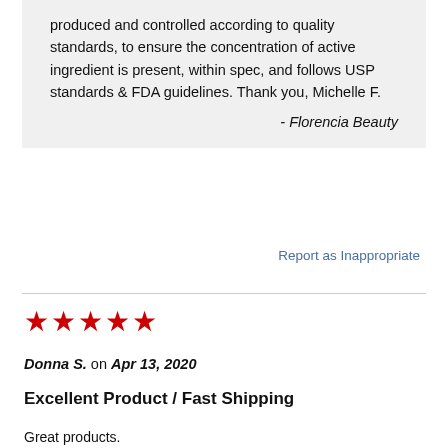produced and controlled according to quality standards, to ensure the concentration of active ingredient is present, within spec, and follows USP standards & FDA guidelines. Thank you, Michelle F.
- Florencia Beauty
Report as Inappropriate
[Figure (other): Five red star rating icons]
Donna S. on Apr 13, 2020
Excellent Product / Fast Shipping
Great products.
Excellent customer service.